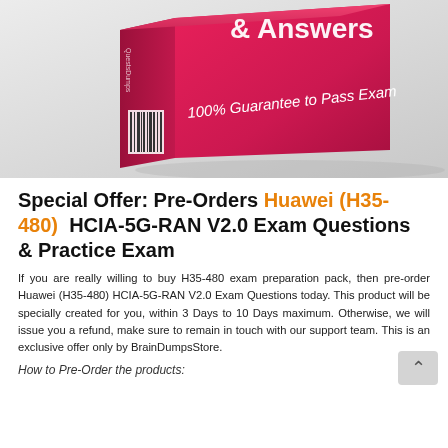[Figure (photo): Pink/magenta product box with '& Answers' text visible on top and '100% Guarantee to Pass Exam' text on the front, along with a barcode on the side, on a light gray background.]
Special Offer: Pre-Orders Huawei (H35-480)  HCIA-5G-RAN V2.0 Exam Questions & Practice Exam
If you are really willing to buy H35-480 exam preparation pack, then pre-order Huawei (H35-480) HCIA-5G-RAN V2.0 Exam Questions today. This product will be specially created for you, within 3 Days to 10 Days maximum. Otherwise, we will issue you a refund, make sure to remain in touch with our support team. This is an exclusive offer only by BrainDumpsStore.
How to Pre-Order the products: